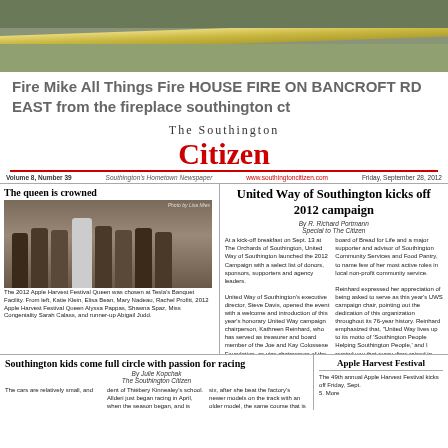[Figure (photo): Photo of a yellow fire hose on grass/pavement background]
Fire Mike All Things Fire HOUSE FIRE ON BANCROFT RD EAST from the fireplace southington ct
[Figure (logo): The Southington Citizen newspaper logo]
Volume 8, Number 39   Southington's Hometown Newspaper   www.southingtoncitizen.com   Friday, September 28, 2012
The queen is crowned
[Figure (photo): Group photo of 2012 Apple Harvest Festival Queen and court at Tesla's Banquet Facility]
The 2012 Apple Harvest Festival Queen was chosen at Tesla's Banquet Facility. From left, Katie Klein, Elisa Bean, Mary Nadeau, Rachel Profitt, 2012 Apple Harvest Festival Queen Alyssa Pappas, Shawna Spaz, Miss Congeniality Sarah Calass, and runner-up Abigail Judd.
United Way of Southington kicks off 2012 campaign
By R. Richard Portmann
Special to The Citizen
At a kick-off breakfast on Sept. 13 at The Orchards of Southington, United Way of Southington launched the 2012 Campaign with a select list of donors, sponsors, supporters and agency leaders.
United Way of Southington's executive director, Steve Davis, opened the event with a welcome and introduction of this year's honorary United Way campaign chairperson, Kathleen Reinhard, who has served as treasurer and board member of the Joe and Kay Colossese Foundation, as vice chairperson of the
board of Bread for Life and a major supporter and advisor of Southington Community Services and Food Pantry, to name few of her most active roles in local non-profit community service.
Reinhard expressed her appreciation of being asked to serve as this year's UWS campaign chair, pointing out the dedication of this organization throughout its 76-year history. Reinhard emphasized that, "United Way lives up to its motto of 'Southington People Helping Southington People,' and I remind you that every dime raised in
See United Way, page 7
Southington kids come full circle with passion for racing
By Julie Kopchak
The Southington Citizen
The cars are relatively small, and
dent of Thiébery Kinnealey's school. Allderi just began racing in April, when the season began, and is completing his first year at as the season comes
six, after she beat the factory's newer models on the track with an older model, the same course that is no longer be-ing produced.
Apple Harvest Festival
The 49th annual Apple Harvest Festival kicks off Friday, Sept.
5. More